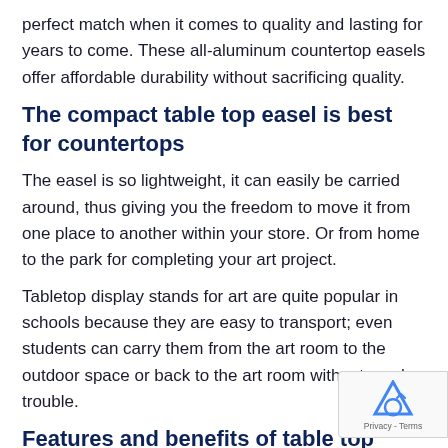perfect match when it comes to quality and lasting for years to come. These all-aluminum countertop easels offer affordable durability without sacrificing quality.
The compact table top easel is best for countertops
The easel is so lightweight, it can easily be carried around, thus giving you the freedom to move it from one place to another within your store. Or from home to the park for completing your art project.
Tabletop display stands for art are quite popular in schools because they are easy to transport; even students can carry them from the art room to the outdoor space or back to the art room without much trouble.
Features and benefits of table top easel stand:
Portable and lightweight